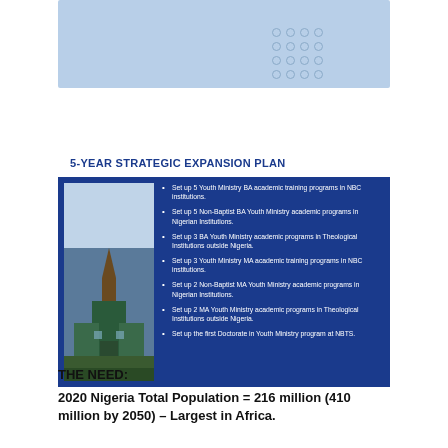[Figure (photo): Light blue rectangular banner/image at top of page with decorative dot grid pattern on right side]
[Figure (infographic): 5-Year Strategic Expansion Plan box with white header on dark blue background, church photo on left, bullet list of expansion goals on right]
THE NEED:
2020 Nigeria Total Population = 216 million (410 million by 2050) – Largest in Africa.